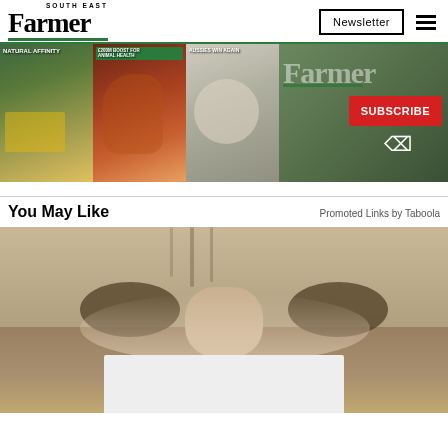South East Farmer | Newsletter
[Figure (screenshot): South East Farmer magazine subscription banner ad showing three magazine covers (Natural Affinity, £200M Boost for Animal Health, Aussies Win Again) alongside a large Farmer logo and red SUBSCRIBE button with cursor icon]
You May Like
Promoted Links by Taboola
[Figure (photo): Close-up photo of a tabby cat's face peering over an edge, with a pale grey card overlay at the bottom of the image]